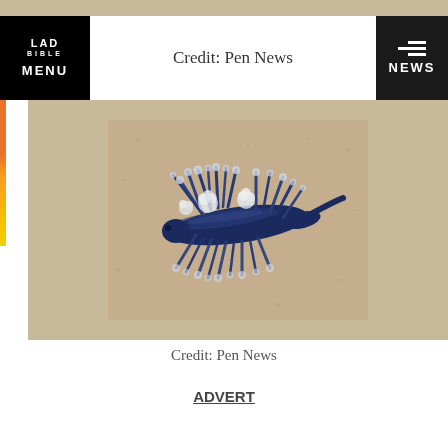[Figure (photo): Partial sandy background strip at top of page, appears to be continuation of a sea creature photo from above]
LAD BIBLE MENU | Credit: Pen News | NEWS
[Figure (photo): Close-up photograph of a blue dragon sea slug (Glaucus atlanticus) on sandy beach surface. The creature is dark navy/blue with spiky radiating appendages (cerata) arranged in clusters, resting on tan/beige sand.]
Credit: Pen News
ADVERT